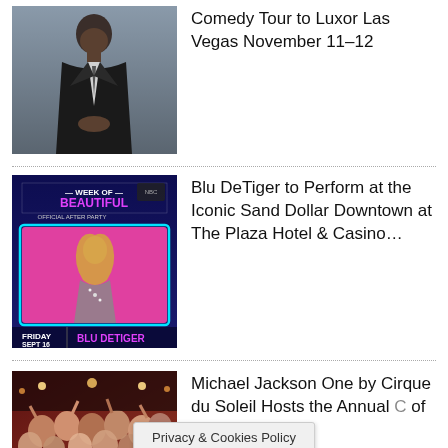[Figure (photo): Man in dark suit standing against gray background]
Comedy Tour to Luxor Las Vegas November 11–12
[Figure (photo): Week of Beautiful official after party event poster with Blu DeTiger, Friday Sept 16]
Blu DeTiger to Perform at the Iconic Sand Dollar Downtown at The Plaza Hotel & Casino…
[Figure (photo): Crowd at Michael Jackson One by Cirque du Soleil event]
Michael Jackson One by Cirque du Soleil Hosts the Annual C of Pop's …
Privacy & Cookies Policy